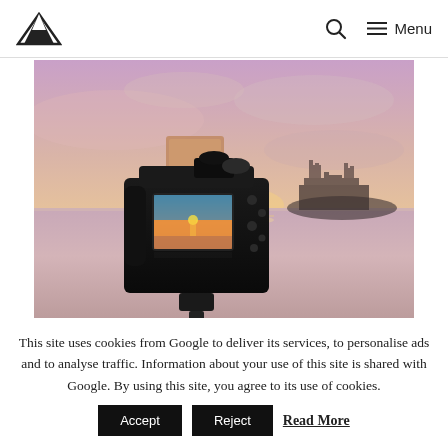Mountain photography website header with logo, search icon, and Menu navigation
[Figure (photo): A DSLR camera on a tripod photographed from the rear, showing its LCD screen displaying a sunset seascape. In the background is a blurred castle silhouette on a rocky outcrop against a pink and purple sunset sky reflected on wet sand.]
This site uses cookies from Google to deliver its services, to personalise ads and to analyse traffic. Information about your use of this site is shared with Google. By using this site, you agree to its use of cookies.
Accept | Reject | Read More